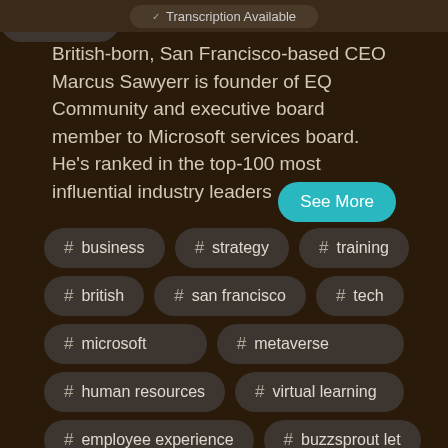Transcription Available
British-born, San Francisco-based CEO Marcus Sawyerr is founder of EQ Community and executive board member to Microsoft services board. He's ranked in the top-100 most influential industry leaders
See More
# business
# strategy
# training
# british
# san francisco
# tech
# microsoft
# metaverse
# human resources
# virtual learning
# employee experience
# buzzsprout let